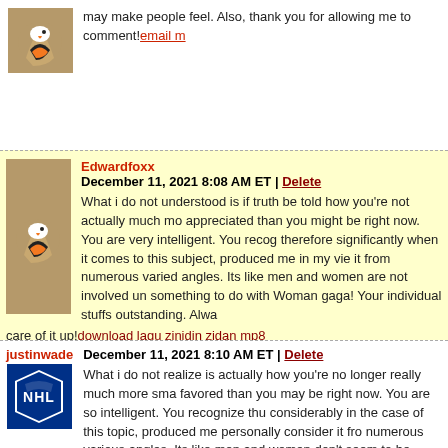may make people feel. Also, thank you for allowing me to comment! email m…
Edwardfoxx — December 11, 2021 8:08 AM ET | Delete
What i do not understood is if truth be told how you're not actually much more appreciated than you might be right now. You are very intelligent. You recog therefore significantly when it comes to this subject, produced me in my view it from numerous varied angles. Its like men and women are not involved un something to do with Woman gaga! Your individual stuffs outstanding. Alwa care of it up! download lagu zinidin zidan mp8
justinwade — December 11, 2021 8:10 AM ET | Delete
What i do not realize is actually how you're no longer really much more sma favored than you may be right now. You are so intelligent. You recognize thu considerably in the case of this topic, produced me personally consider it fro numerous various angles. Its like men and women don't seem to be fascinate something to do with Woman gaga! Your personal stuffs nice. At all times m up! 이이이이이
justinwade — December 11, 2021 11:36 AM ET | Delete
Beneficial info and excellent design you got here! I want to thank you for sh ideas and putting the time into the stuff you publish! Great work! ВИЗА В А…